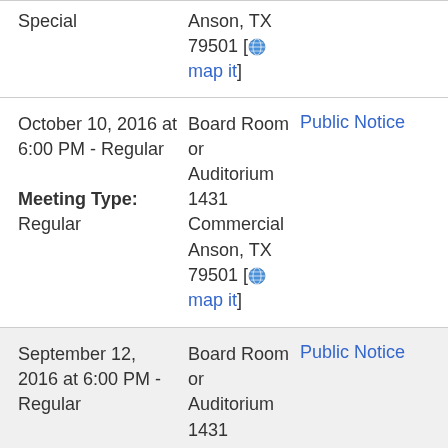| Date/Type | Location | Notice |
| --- | --- | --- |
| Special | Anson, TX 79501 [map it] |  |
| October 10, 2016 at 6:00 PM - Regular
Meeting Type: Regular | Board Room or Auditorium 1431 Commercial Anson, TX 79501 [map it] | Public Notice |
| September 12, 2016 at 6:00 PM - Regular
Meeting Type: Regular | Board Room or Auditorium 1431 Commercial Anson, TX 79501 [map it] | Public Notice |
| August 29, 2016 at 6:10 PM - | Board Room or Auditorium | Public Notice |